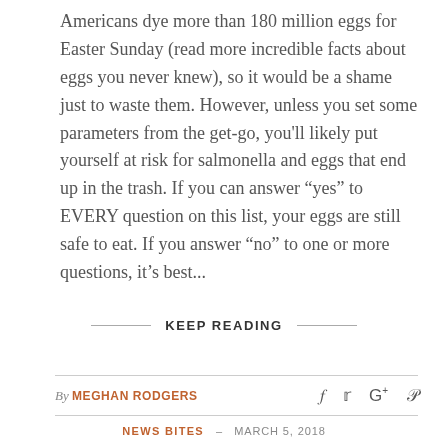Americans dye more than 180 million eggs for Easter Sunday (read more incredible facts about eggs you never knew), so it would be a shame just to waste them. However, unless you set some parameters from the get-go, you'll likely put yourself at risk for salmonella and eggs that end up in the trash. If you can answer “yes” to EVERY question on this list, your eggs are still safe to eat. If you answer “no” to one or more questions, it’s best...
KEEP READING
By MEGHAN RODGERS
NEWS BITES – MARCH 5, 2018